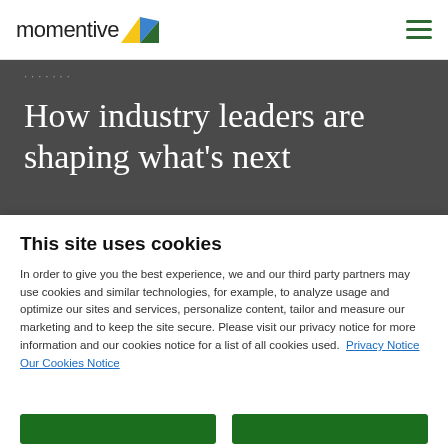momentive [logo]
How industry leaders are shaping what's next
This site uses cookies
In order to give you the best experience, we and our third party partners may use cookies and similar technologies, for example, to analyze usage and optimize our sites and services, personalize content, tailor and measure our marketing and to keep the site secure. Please visit our privacy notice for more information and our cookies notice for a list of all cookies used.  Privacy Notice  Our Cookies Notice